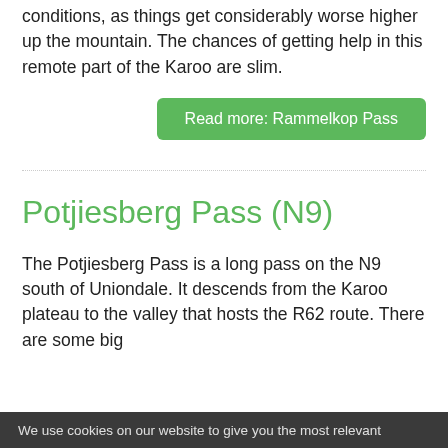conditions, as things get considerably worse higher up the mountain. The chances of getting help in this remote part of the Karoo are slim.
Read more: Rammelkop Pass
Potjiesberg Pass (N9)
The Potjiesberg Pass is a long pass on the N9 south of Uniondale. It descends from the Karoo plateau to the valley that hosts the R62 route. There are some big
We use cookies on our website to give you the most relevant